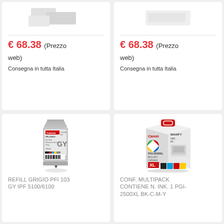€ 68.38 (Prezzo web)
Consegna in tutta Italia
€ 68.38 (Prezzo web)
Consegna in tutta Italia
[Figure (photo): Canon PFI-103GY gray ink cartridge refill for IPF 5100/6100]
REFILL GRIGIO PFI 103 GY IPF 5100/6100
[Figure (photo): Canon PGI-2500XL multipack ink cartridge box containing BK, C, M, Y]
CONF. MULTIPACK CONTIENE N. INK. 1 PGI-2500XL BK-C-M-Y